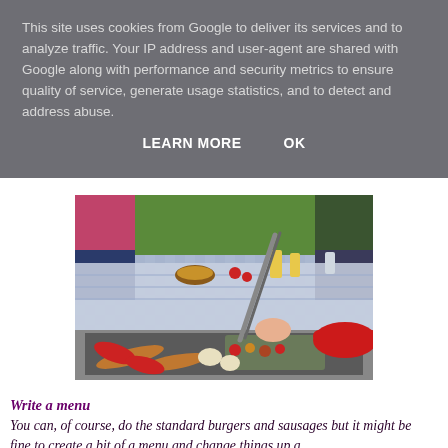This site uses cookies from Google to deliver its services and to analyze traffic. Your IP address and user-agent are shared with Google along with performance and security metrics to ensure quality of service, generate usage statistics, and to detect and address abuse.
LEARN MORE    OK
[Figure (photo): An outdoor barbecue scene showing a person using tongs to grill food on a grill with sausages, peppers, and other foods. Another person holds a red lid. A table in the background has various drinks and dishes.]
Write a menu
You can, of course, do the standard burgers and sausages but it might be fine to create a bit of a menu and change things up a